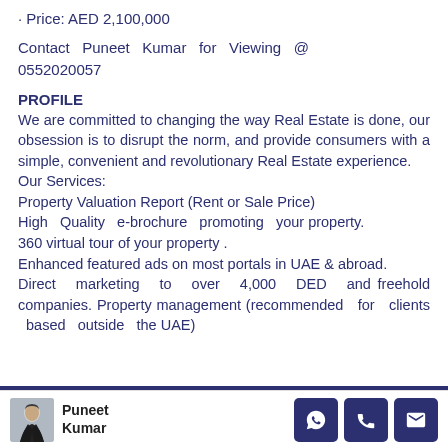· Price: AED 2,100,000
Contact Puneet Kumar for Viewing @ 0552020057
PROFILE
We are committed to changing the way Real Estate is done, our obsession is to disrupt the norm, and provide consumers with a simple, convenient and revolutionary Real Estate experience.
Our Services:
Property Valuation Report (Rent or Sale Price)
High Quality e-brochure promoting your property.
360 virtual tour of your property .
Enhanced featured ads on most portals in UAE & abroad.
Direct marketing to over 4,000 DED and freehold companies. Property management (recommended for clients based outside the UAE)
Puneet Kumar